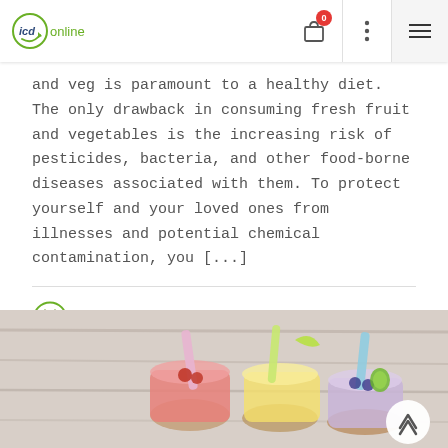icd online
and veg is paramount to a healthy diet. The only drawback in consuming fresh fruit and vegetables is the increasing risk of pesticides, bacteria, and other food-borne diseases associated with them. To protect yourself and your loved ones from illnesses and potential chemical contamination, you [...]
October 3, 2019
[Figure (photo): Three mason jars filled with colorful fruit smoothies (pink, yellow, purple) with straws and fruit garnishes on a wooden table background]